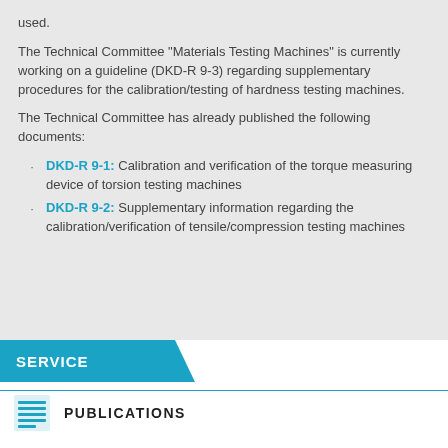used.
The Technical Committee "Materials Testing Machines" is currently working on a guideline (DKD-R 9-3) regarding supplementary procedures for the calibration/testing of hardness testing machines.
The Technical Committee has already published the following documents:
DKD-R 9-1: Calibration and verification of the torque measuring device of torsion testing machines
DKD-R 9-2: Supplementary information regarding the calibration/verification of tensile/compression testing machines
SERVICE
PUBLICATIONS